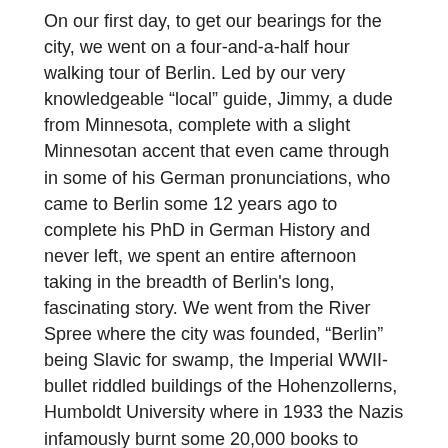On our first day, to get our bearings for the city, we went on a four-and-a-half hour walking tour of Berlin. Led by our very knowledgeable “local” guide, Jimmy, a dude from Minnesota, complete with a slight Minnesotan accent that even came through in some of his German pronunciations, who came to Berlin some 12 years ago to complete his PhD in German History and never left, we spent an entire afternoon taking in the breadth of Berlin's long, fascinating story. We went from the River Spree where the city was founded, “Berlin” being Slavic for swamp, the Imperial WWII-bullet riddled buildings of the Hohenzollerns, Humboldt University where in 1933 the Nazis infamously burnt some 20,000 books to Hitler’s bunker, the Berlin Wall, Communist Secret Police HQ, and the Reichstag (newly opened in 1999).
We actually did a follow-up visit to the Reichstag on our second day in Berlin, and went to the very top of its dome for an excellent, albeit slightly foggy, view of the city. The visit